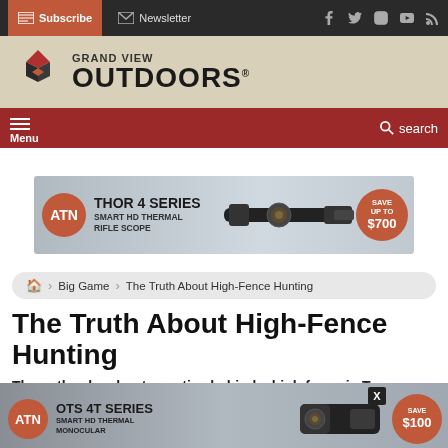Subscribe | Newsletter | Social icons
[Figure (logo): Grand View Outdoors diamond logo with text GRAND VIEW OUTDOORS]
[Figure (screenshot): Red navigation bar with hamburger menu and search icon]
[Figure (infographic): ATN Thor 4 Series Smart HD Thermal Rifle Scope advertisement banner - Save up to $700]
Big Game > The Truth About High-Fence Hunting
The Truth About High-Fence Hunting
The author bowhunts exotics behind a high fence in Texas for the first time, and comes away with nation for the d
[Figure (infographic): ATN OTS 4T Series Smart HD Thermal Monocular advertisement banner - Save $100]